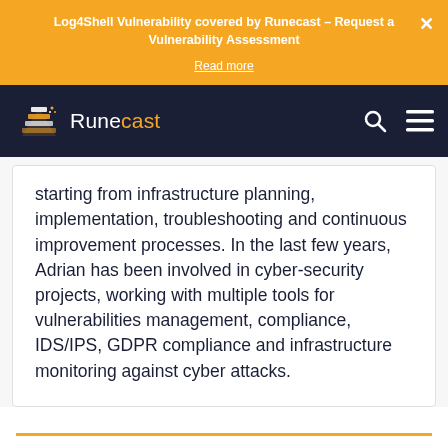Log4Shell Vulnerability covered by Runecast – Request a Vulnerability Assessment
Read more
[Figure (logo): Runecast logo with stylized layered flag icon and text 'Runecast' where 'cast' is in orange]
starting from infrastructure planning, implementation, troubleshooting and continuous improvement processes. In the last few years, Adrian has been involved in cyber-security projects, working with multiple tools for vulnerabilities management, compliance, IDS/IPS, GDPR compliance and infrastructure monitoring against cyber attacks.